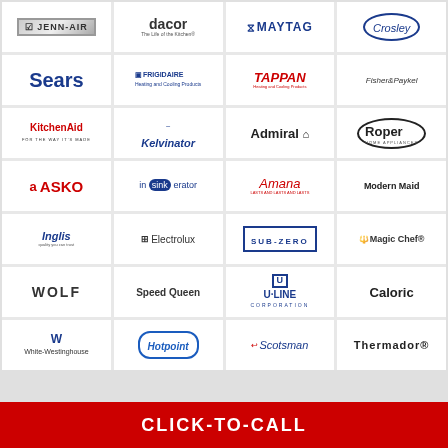[Figure (logo): Grid of appliance brand logos: Jenn-Air, Dacor, Maytag, Crosley, Sears, Frigidaire, Tappan, Fisher&Paykel, KitchenAid, Kelvinator, Admiral, Roper, ASKO, InSinkErator, Amana, Modern Maid, Inglis, Electrolux, Sub-Zero, Magic Chef, Wolf, Speed Queen, U-Line Corporation, Caloric, White-Westinghouse, Hotpoint, Scotsman, Thermador]
CLICK-TO-CALL